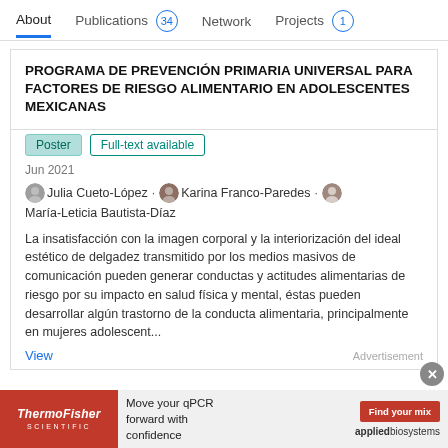About   Publications 34   Network   Projects 1
PROGRAMA DE PREVENCIÓN PRIMARIA UNIVERSAL PARA FACTORES DE RIESGO ALIMENTARIO EN ADOLESCENTES MEXICANAS
Poster   Full-text available
Jun 2021
Julia Cueto-López · Karina Franco-Paredes · María-Leticia Bautista-Díaz
La insatisfacción con la imagen corporal y la interiorización del ideal estético de delgadez transmitido por los medios masivos de comunicación pueden generar conductas y actitudes alimentarias de riesgo por su impacto en salud física y mental, éstas pueden desarrollar algún trastorno de la conducta alimentaria, principalmente en mujeres adolescent...
View
Advertisement
[Figure (other): ThermoFisher Scientific advertisement banner: Move your qPCR forward with confidence. Find your mix. applied biosystems.]